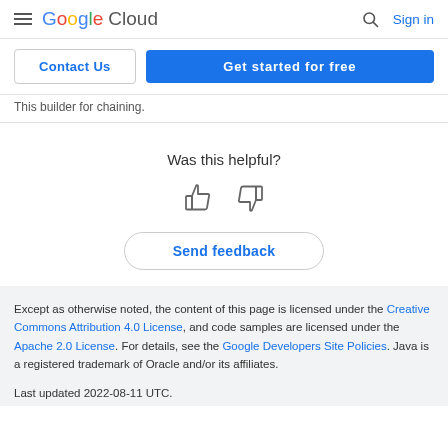Google Cloud — Sign in
Contact Us | Get started for free
This builder for chaining.
Was this helpful?
[Figure (illustration): Thumbs up and thumbs down icons for feedback]
Send feedback
Except as otherwise noted, the content of this page is licensed under the Creative Commons Attribution 4.0 License, and code samples are licensed under the Apache 2.0 License. For details, see the Google Developers Site Policies. Java is a registered trademark of Oracle and/or its affiliates.
Last updated 2022-08-11 UTC.